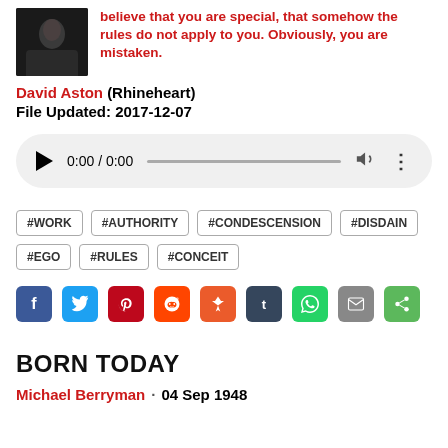believe that you are special, that somehow the rules do not apply to you. Obviously, you are mistaken.
David Aston (Rhineheart)
File Updated: 2017-12-07
[Figure (other): Audio player UI showing 0:00 / 0:00 with play button, progress bar, volume icon, and more options]
#WORK
#AUTHORITY
#CONDESCENSION
#DISDAIN
#EGO
#RULES
#CONCEIT
[Figure (other): Social media share buttons: Facebook, Twitter, Pinterest, Reddit, StumbleUpon, Tumblr, WhatsApp, Email, ShareThis]
BORN TODAY
Michael Berryman · 04 Sep 1948